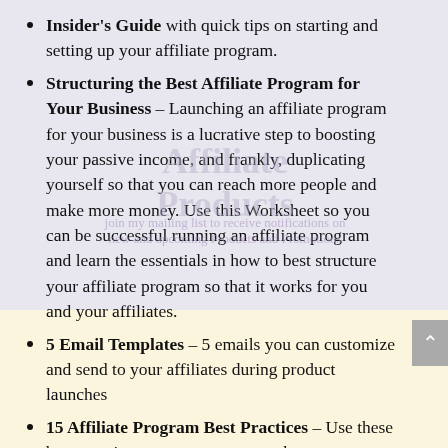Insider's Guide with quick tips on starting and setting up your affiliate program.
Structuring the Best Affiliate Program for Your Business – Launching an affiliate program for your business is a lucrative step to boosting your passive income, and frankly, duplicating yourself so that you can reach more people and make more money. Use this Worksheet so you can be successful running an affiliate program and learn the essentials in how to best structure your affiliate program so that it works for you and your affiliates.
5 Email Templates – 5 emails you can customize and send to your affiliates during product launches
15 Affiliate Program Best Practices – Use these best practices to ensure you earn the